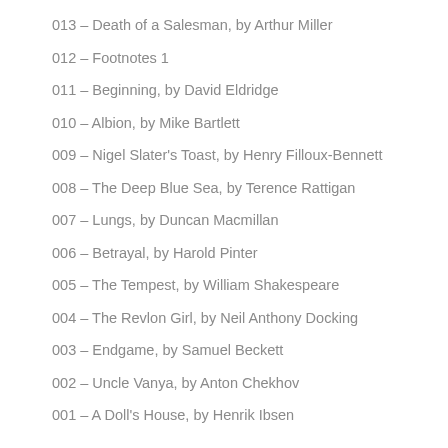013 – Death of a Salesman, by Arthur Miller
012 – Footnotes 1
011 – Beginning, by David Eldridge
010 – Albion, by Mike Bartlett
009 – Nigel Slater's Toast, by Henry Filloux-Bennett
008 – The Deep Blue Sea, by Terence Rattigan
007 – Lungs, by Duncan Macmillan
006 – Betrayal, by Harold Pinter
005 – The Tempest, by William Shakespeare
004 – The Revlon Girl, by Neil Anthony Docking
003 – Endgame, by Samuel Beckett
002 – Uncle Vanya, by Anton Chekhov
001 – A Doll's House, by Henrik Ibsen